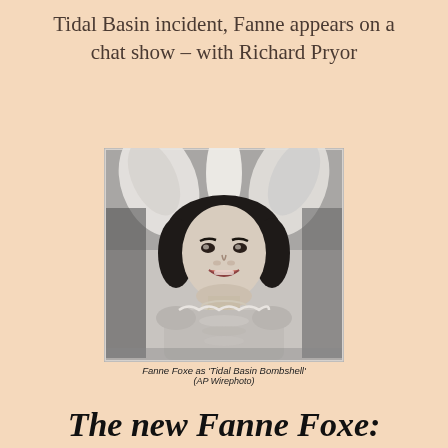Tidal Basin incident, Fanne appears on a chat show – with Richard Pryor
[Figure (photo): Black and white newspaper photograph of Fanne Foxe dressed as 'Tidal Basin Bombshell' in a feathered showgirl costume, smiling at the camera. She has dark hair and is wearing a beaded/sequined costume with feathers above.]
Fanne Foxe as 'Tidal Basin Bombshell'
(AP Wirephoto)
The new Fanne Foxe: